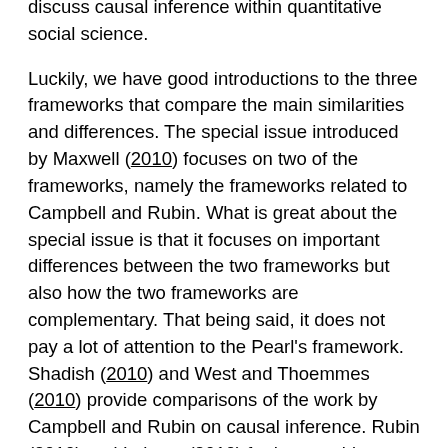discuss causal inference within quantitative social science.
Luckily, we have good introductions to the three frameworks that compare the main similarities and differences. The special issue introduced by Maxwell (2010) focuses on two of the frameworks, namely the frameworks related to Campbell and Rubin. What is great about the special issue is that it focuses on important differences between the two frameworks but also how the two frameworks are complementary. That being said, it does not pay a lot of attention to the Pearl's framework. Shadish (2010) and West and Thoemmes (2010) provide comparisons of the work by Campbell and Rubin on causal inference. Rubin (2010) and Imbens (2010) further provide some additional reflections on the causal models from their own perspectives.
The best primer to understand the three frameworks is the book chapter by Shadish and Sullivan (2012). They